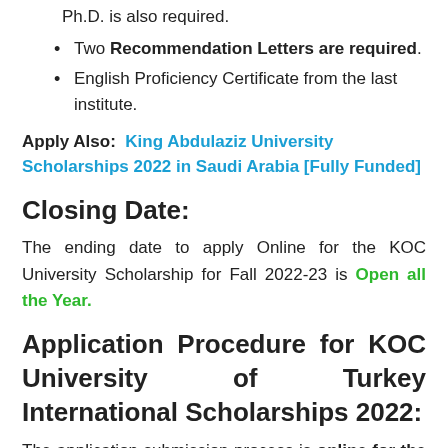Ph.D. is also required.
Two Recommendation Letters are required.
English Proficiency Certificate from the last institute.
Apply Also: King Abdulaziz University Scholarships 2022 in Saudi Arabia [Fully Funded]
Closing Date:
The ending date to apply Online for the KOC University Scholarship for Fall 2022-23 is Open all the Year.
Application Procedure for KOC University of Turkey International Scholarships 2022:
The application submission process is online for the KOC